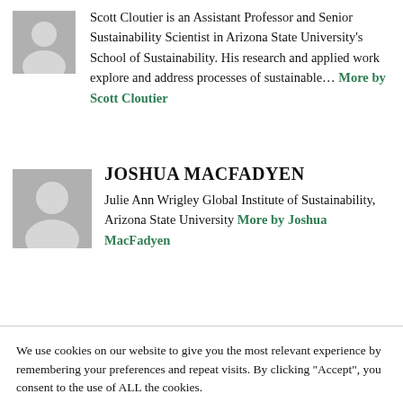Scott Cloutier is an Assistant Professor and Senior Sustainability Scientist in Arizona State University's School of Sustainability. His research and applied work explore and address processes of sustainable... More by Scott Cloutier
[Figure (photo): Gray placeholder avatar icon for Scott Cloutier]
JOSHUA MACFADYEN
[Figure (photo): Gray placeholder avatar icon for Joshua MacFadyen]
Julie Ann Wrigley Global Institute of Sustainability, Arizona State University More by Joshua MacFadyen
We use cookies on our website to give you the most relevant experience by remembering your preferences and repeat visits. By clicking “Accept”, you consent to the use of ALL the cookies.
Cookie settings  ACCEPT